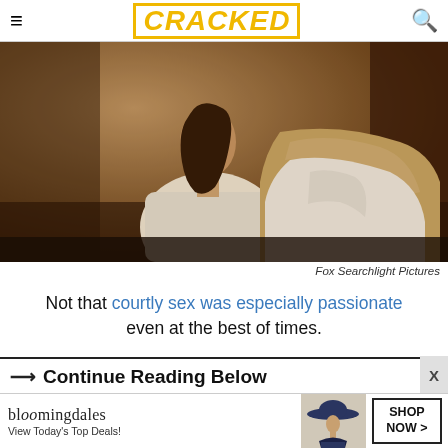CRACKED
[Figure (photo): Two figures in a dimly lit, sepia-toned scene reminiscent of a period film; a woman with long dark hair and a person in a white shirt visible from the back.]
Fox Searchlight Pictures
Not that courtly sex was especially passionate even at the best of times.
Continue Reading Below
[Figure (screenshot): Bloomingdale's advertisement banner: 'View Today's Top Deals!' with a woman in a hat and a 'SHOP NOW >' button.]